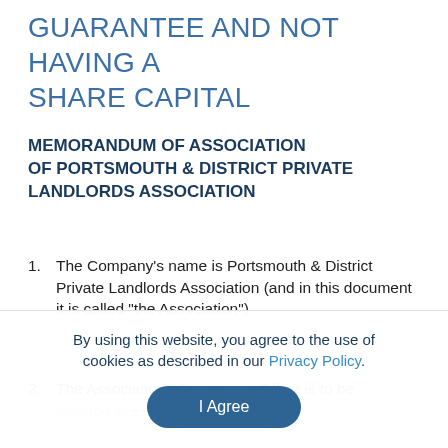GUARANTEE AND NOT HAVING A SHARE CAPITAL
MEMORANDUM OF ASSOCIATION OF PORTSMOUTH & DISTRICT PRIVATE LANDLORDS ASSOCIATION
1.      The Company's name is Portsmouth & District Private Landlords Association (and in this document it is called "the Association")
2.      The Association's Registered Office is to be situated in England and Wales
By using this website, you agree to the use of cookies as described in our Privacy Policy.
I Agree